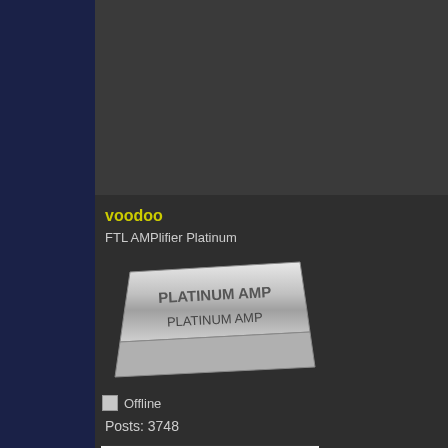othe
Logged
voodoo
FTL AMPlifier Platinum
[Figure (illustration): Platinum AMP silver bar badge with text PLATINUM AMP written on it]
Offline
Posts: 3748
[Figure (illustration): Skull wearing top hat with number 8 on red band, cartoon style in black and white]
[Figure (illustration): Small profile/user icon]
[Figure (other): Dice icon]
Re: Drain the Free State
« Reply #369 on: November 05, 2010 05:55 PM »
Quote from